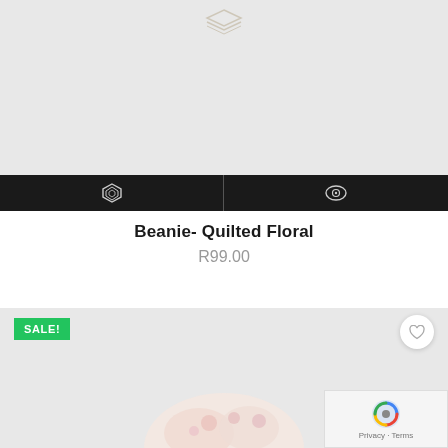[Figure (photo): Product image area showing a light gray background with a small gold charm/jewelry piece at the top center, part of a product card for Beanie Quilted Floral]
[Figure (infographic): Black action bar with two icon buttons: stacked layers icon on the left and eye/view icon on the right, separated by a vertical divider]
Beanie- Quilted Floral
R99.00
[Figure (photo): Second product card with SALE! badge in green, a white heart/wishlist button, and a light gray product image area showing a floral patterned item partially visible at bottom]
[Figure (other): reCAPTCHA widget overlay in bottom right corner showing Privacy and Terms text]